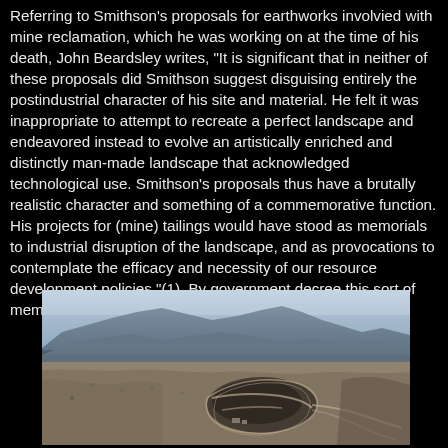Referring to Smithson's proposals for earthworks involvied with mine reclamation, which he was working on at the time of his death, John Beardsley writes, "It is significant that in neither of these proposals did Smithson suggest disguising entirely the postindustrial character of his site and material. He felt it was inappropriate to attempt to recreate a perfect landscape and endeavored instead to evolve an artistically enriched and distinctly man-made landscape that acknowledged technological use. Smithson's proposals thus have a brutally realistic character and something of a commemorative function. His projects for (mine) tailings would have stood as memorials to industrial disruption of the landscape, and as provocations to contemplate the efficacy and necessity of our resource development policies."(1). By government decree this sort of memorial has been rejected.
[Figure (photo): Aerial photograph of a large open-pit mine in a mountainous desert landscape, showing terraced mining cuts, roads, and disturbed terrain with mountains in the background under a hazy sky.]